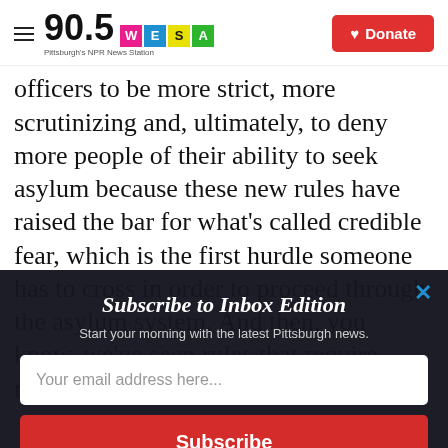90.5 WESA - Pittsburgh's NPR News Station | Donate
officers to be more strict, more scrutinizing and, ultimately, to deny more people of their ability to seek asylum because these new rules have raised the bar for what's called credible fear, which is the first hurdle someone has to cross in order to proceed through the asylum system. And then, you know, we've seen rules that require more asylum
Subscribe to Inbox Edition
Start your morning with the latest Pittsburgh news.
Your email address here...
Subscribe